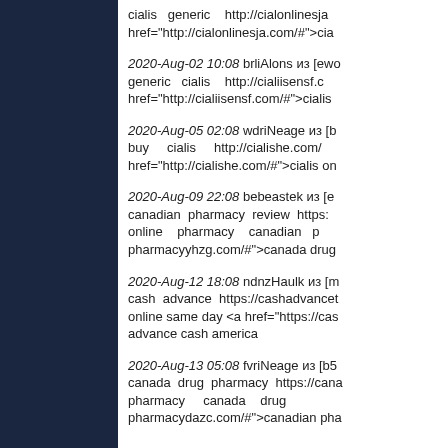cialis generic http://cialonlinesja href="http://cialonlinesja.com/#">cia
2020-Aug-02 10:08 brliAlons из [ewo generic cialis http://cialiisensf.c href="http://cialiisensf.com/#">cialis
2020-Aug-05 02:08 wdriNeage из [b buy cialis http://cialishe.com/ href="http://cialishe.com/#">cialis on
2020-Aug-09 22:08 bebeastek из [e canadian pharmacy review https: online pharmacy canadian p pharmacyyhzg.com/#">canada drug
2020-Aug-12 18:08 ndnzHaulk из [m cash advance https://cashadvancet online same day <a href="https://cas advance cash america
2020-Aug-13 05:08 fvriNeage из [b5 canada drug pharmacy https://cana pharmacy canada drug pharmacydazc.com/#">canadian pha